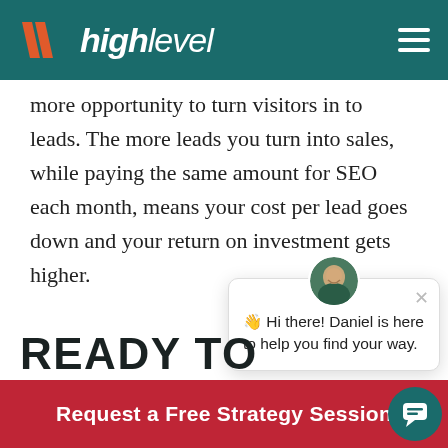high level
more opportunity to turn visitors in to leads. The more leads you turn into sales, while paying the same amount for SEO each month, means your cost per lead goes down and your return on investment gets higher.
[Figure (screenshot): Chat popup with avatar of Daniel. Text reads: Hi there! Daniel is here to help you find your way. With close X button.]
READY TO PLUMBIN
Request a Free Strategy Session